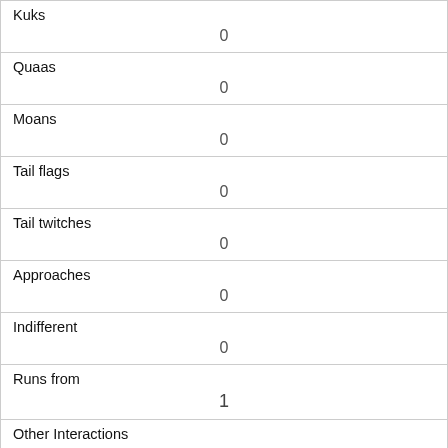| Kuks | 0 |
| Quaas | 0 |
| Moans | 0 |
| Tail flags | 0 |
| Tail twitches | 0 |
| Approaches | 0 |
| Indifferent | 0 |
| Runs from | 1 |
| Other Interactions | watching me |
| Lat/Long | POINT (-73.9694168118643 40.7728877377977) |